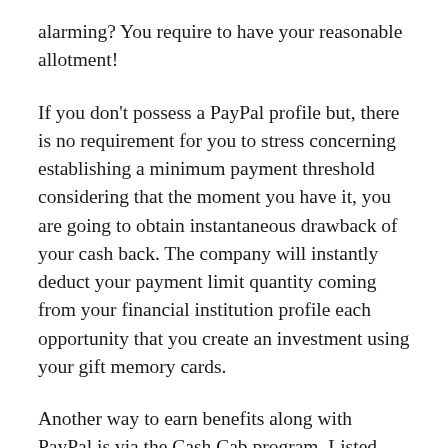alarming? You require to have your reasonable allotment!
If you don't possess a PayPal profile but, there is no requirement for you to stress concerning establishing a minimum payment threshold considering that the moment you have it, you are going to obtain instantaneous drawback of your cash back. The company will instantly deduct your payment limit quantity coming from your financial institution profile each opportunity that you create an investment using your gift memory cards.
Another way to earn benefits along with PayPal is via the Cash Cab program. Listed here, you may virtually earn benefits each and every time! You perform certainly not even require to open an actual cash money profile to be capable to register and also get going. So long as you have a free of cost account,